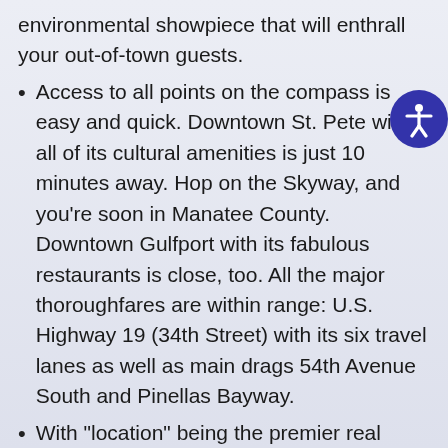environmental showpiece that will enthrall your out-of-town guests.
Access to all points on the compass is easy and quick. Downtown St. Pete with all of its cultural amenities is just 10 minutes away. Hop on the Skyway, and you’re soon in Manatee County. Downtown Gulfport with its fabulous restaurants is close, too. All the major thoroughfares are within range: U.S. Highway 19 (34th Street) with its six travel lanes as well as main drags 54th Avenue South and Pinellas Bayway.
With “location” being the premier real estate mantra, it’s vital to note that a dozen surrounding neighborhoods are already in place, and many have waterfront homes at